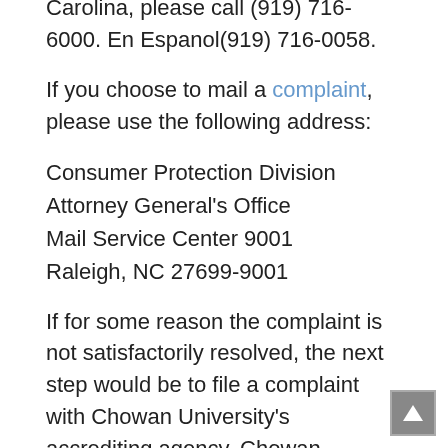Carolina, please call (919) 716-6000. En Espanol(919) 716-0058.
If you choose to mail a complaint, please use the following address:
Consumer Protection Division
Attorney General's Office
Mail Service Center 9001
Raleigh, NC 27699-9001
If for some reason the complaint is not satisfactorily resolved, the next step would be to file a complaint with Chowan University's accrediting agency. Chowan University is accredited by the Southern Association of Colleges and Schools Commission on Colleges to award the associate, baccalaureate, and masters degrees. Contact the Southern Association of Colleges and Schools Commission on Colleges at 1866 Southern